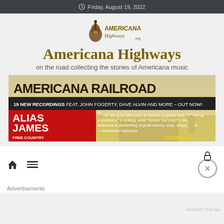Friday, August 19, 2022
[Figure (logo): Americana Highways logo with guitar]
Americana Highways
on the road collecting the stories of Americana music
[Figure (infographic): Americana Railroad advertisement banner: 19 NEW RECORDINGS FEAT. JOHN FOGERTY, DAVE ALVIN AND MORE – OUT NOW! Alias James Free Country. Quote from Americana Highways. Listen Now.]
Advertisements